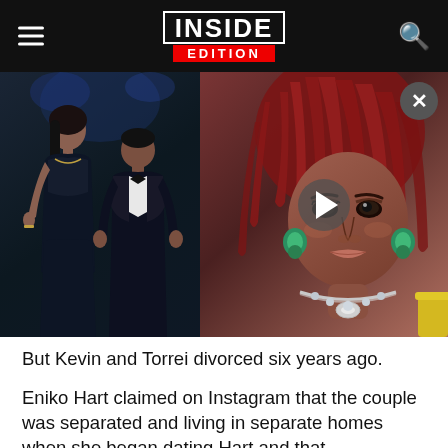INSIDE EDITION
[Figure (photo): Two side-by-side photos: left shows a couple (woman in black dress and man in tuxedo) at People's Choice Awards; right shows a woman with red dreadlocks wearing a sparkly necklace with a video play button overlay and close X button]
But Kevin and Torrei divorced six years ago.
Eniko Hart claimed on Instagram that the couple was separated and living in separate homes when she began dating Hart and that